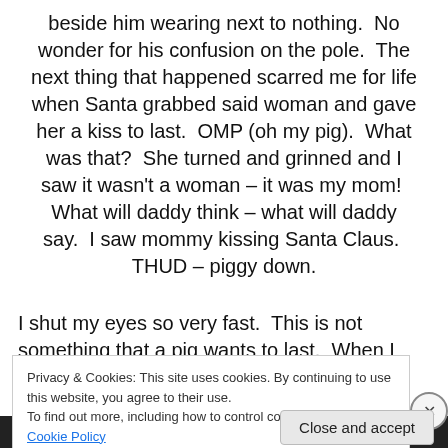beside him wearing next to nothing.  No wonder for his confusion on the pole.  The next thing that happened scarred me for life when Santa grabbed said woman and gave her a kiss to last.  OMP (oh my pig).  What was that?  She turned and grinned and I saw it wasn't a woman – it was my mom!  What will daddy think – what will daddy say.  I saw mommy kissing Santa Claus.  THUD – piggy down.
I shut my eyes so very fast.  This is not something that a pig wants to last.  When I reopened my eyes much to my
Privacy & Cookies: This site uses cookies. By continuing to use this website, you agree to their use.
To find out more, including how to control cookies, see here: Cookie Policy